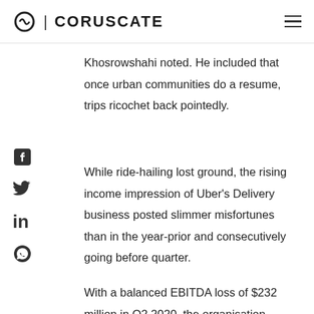CORUSCATE
Khosrowshahi noted. He included that once urban communities do a resume, trips ricochet back pointedly.
While ride-hailing lost ground, the rising income impression of Uber's Delivery business posted slimmer misfortunes than in the year-prior and consecutively going before quarter.
With a balanced EBITDA loss of $232 million in Q2 2020, the organisation shaved off more than $50 million in